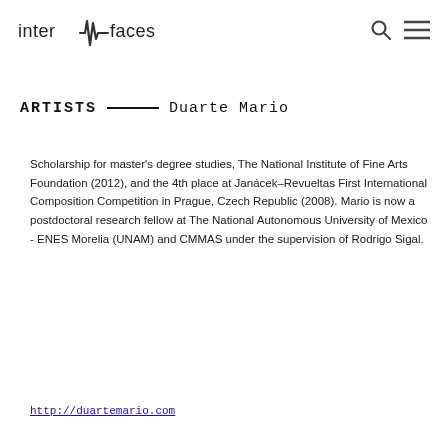inter faces
ARTISTS — Duarte Mario
Scholarship for master's degree studies, The National Institute of Fine Arts Foundation (2012), and the 4th place at Janácek–Revueltas First International Composition Competition in Prague, Czech Republic (2008). Mario is now a postdoctoral research fellow at The National Autonomous University of Mexico - ENES Morelia (UNAM) and CMMAS under the supervision of Rodrigo Sigal.
http://duartemario.com